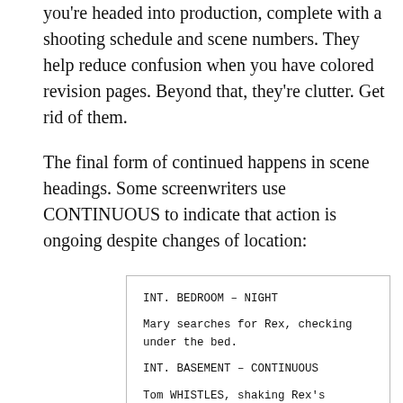you're headed into production, complete with a shooting schedule and scene numbers. They help reduce confusion when you have colored revision pages. Beyond that, they're clutter. Get rid of them.
The final form of continued happens in scene headings. Some screenwriters use CONTINUOUS to indicate that action is ongoing despite changes of location:
[Figure (other): Screenplay excerpt showing INT. BEDROOM – NIGHT with action line 'Mary searches for Rex, checking under the bed.' followed by INT. BASEMENT – CONTINUOUS with action line 'Tom WHISTLES, shaking Rex's favorite toy.']